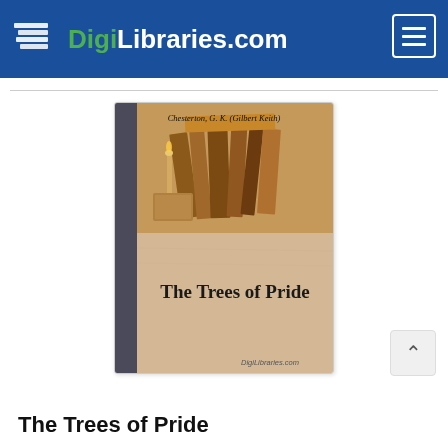DigiLibraries.com
[Figure (illustration): Book cover for 'The Trees of Pride' by Chesterton, G. K. (Gilbert Keith). Upper half shows a vintage photograph of stacked antique books with a candlestick. Lower half is a beige/tan background with the title 'The Trees of Pride' in large black serif font. DigiLibraries.com watermark at bottom right.]
The Trees of Pride